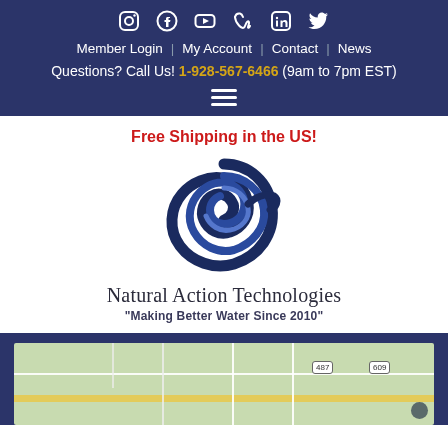Social icons: Instagram, Facebook, YouTube, Vimeo, LinkedIn, Twitter
Member Login | My Account | Contact | News
Questions? Call Us! 1-928-567-6466 (9am to 7pm EST)
[Figure (logo): Natural Action Technologies spiral swirl logo with text 'Natural Action Technologies' and tagline '"Making Better Water Since 2010"']
Free Shipping in the US!
[Figure (map): Google map showing a geographic area with road routes, route badges 487 and 609 visible, and a location dot in the lower right area.]